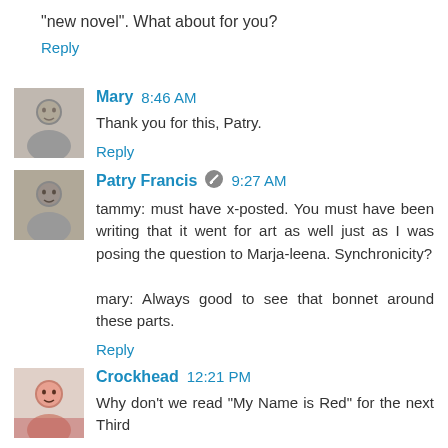"new novel". What about for you?
Reply
[Figure (photo): Black and white avatar photo of Mary]
Mary  8:46 AM
Thank you for this, Patry.
Reply
[Figure (photo): Black and white avatar photo of Patry Francis]
Patry Francis  9:27 AM
tammy: must have x-posted. You must have been writing that it went for art as well just as I was posing the question to Marja-leena. Synchronicity?

mary: Always good to see that bonnet around these parts.
Reply
[Figure (photo): Color avatar photo of Crockhead]
Crockhead  12:21 PM
Why don't we read "My Name is Red" for the next Third